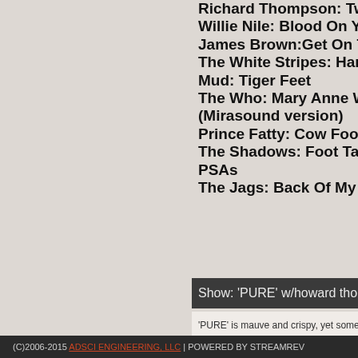Richard Thompson: Two...
Willie Nile: Blood On You...
James Brown: Get On Th...
The White Stripes: Hands...
Mud: Tiger Feet
The Who: Mary Anne Wit... (Mirasound version)
Prince Fatty: Cow Foot a...
The Shadows: Foot Tapp...
PSAs
The Jags: Back Of My Ha...
Show: 'PURE' w/howard tho...
'PURE' is mauve and crispy, yet someh...
(C)2006-2015 ADSCI ENGINEERING, LLC | POWERED BY STREAMREV...